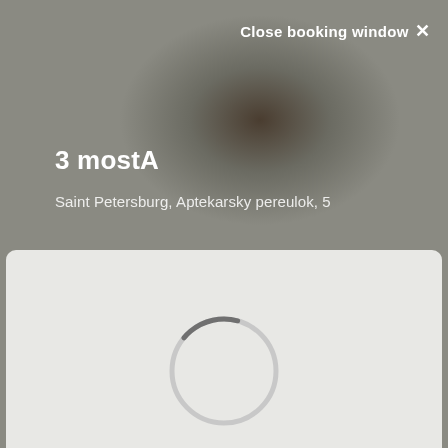Close booking window ×
3 mostA
Saint Petersburg, Aptekarsky pereulok, 5
[Figure (screenshot): Loading spinner — a circular arc (mostly grey ring with a darker portion at the top-left, indicating a loading/searching animation)]
Searching available offers...